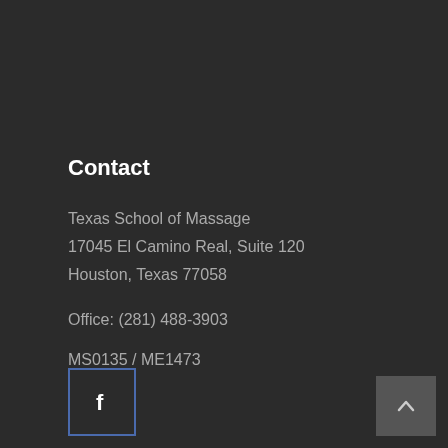Contact
Texas School of Massage
17045 El Camino Real, Suite 120
Houston, Texas 77058
Office: (281) 488-3903
MS0135 / ME1473
[Figure (logo): Facebook social media button with 'f' icon in a square with blue border]
[Figure (other): Back to top button with upward chevron arrow on gray background]